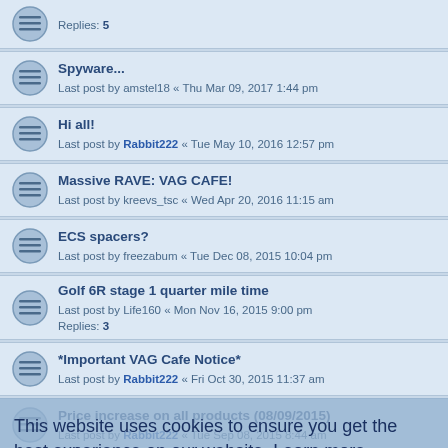Replies: 5
Spyware...
Last post by amstel18 « Thu Mar 09, 2017 1:44 pm
Hi all!
Last post by Rabbit222 « Tue May 10, 2016 12:57 pm
Massive RAVE: VAG CAFE!
Last post by kreevs_tsc « Wed Apr 20, 2016 11:15 am
ECS spacers?
Last post by freezabum « Tue Dec 08, 2015 10:04 pm
Golf 6R stage 1 quarter mile time
Last post by Life160 « Mon Nov 16, 2015 9:00 pm
Replies: 3
*Important VAG Cafe Notice*
Last post by Rabbit222 « Fri Oct 30, 2015 11:37 am
Price increase on all products (08/09/2015)
Last post by Rabbit222 « Tue Sep 08, 2015 8:44 am
Rear wiper delete kits
Last post by PoLonY « Thu Jul 30, 2015 10:00 am
Replies: 5
My Car Got Shot - by VAG Cafe
Last post by MarshallGTi « Tue Jul 21, 2015 2:28 pm
Replies: 6
JB1 units back in stock! 10/07/2015
Last post by Rabbit222 « Fri Jul 10, 2015 4:51 pm
This website uses cookies to ensure you get the best experience on our website. Learn more
Got it!